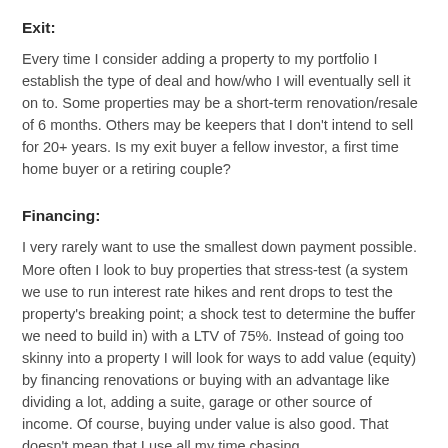Exit:
Every time I consider adding a property to my portfolio I establish the type of deal and how/who I will eventually sell it on to. Some properties may be a short-term renovation/resale of 6 months. Others may be keepers that I don't intend to sell for 20+ years. Is my exit buyer a fellow investor, a first time home buyer or a retiring couple?
Financing:
I very rarely want to use the smallest down payment possible. More often I look to buy properties that stress-test (a system we use to run interest rate hikes and rent drops to test the property's breaking point; a shock test to determine the buffer we need to build in) with a LTV of 75%. Instead of going too skinny into a property I will look for ways to add value (equity) by financing renovations or buying with an advantage like dividing a lot, adding a suite, garage or other source of income. Of course, buying under value is also good. That doesn't mean that I use all my time chasing